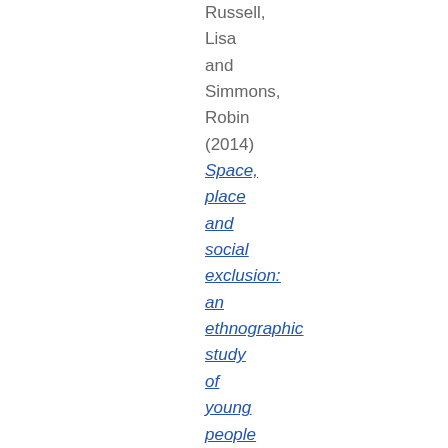Russell, Lisa and Simmons, Robin (2014) Space, place and social exclusion: an ethnographic study of young people outside education and employment.